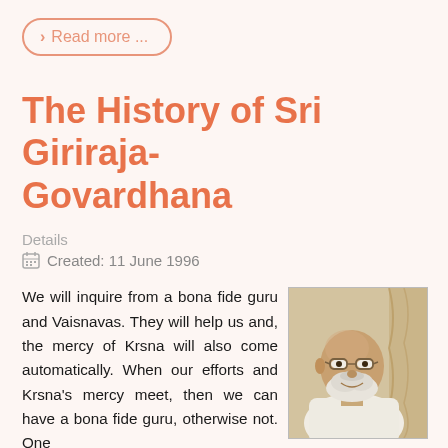Read more ...
The History of Sri Giriraja-Govardhana
Details
Created: 11 June 1996
We will inquire from a bona fide guru and Vaisnavas. They will help us and, the mercy of Krsna will also come automatically. When our efforts and Krsna's mercy meet, then we can have a bona fide guru, otherwise not. One more thing is essential—your past birth impressions. If you
[Figure (photo): Portrait photo of an elderly man with glasses and white beard, wearing a white shirt]